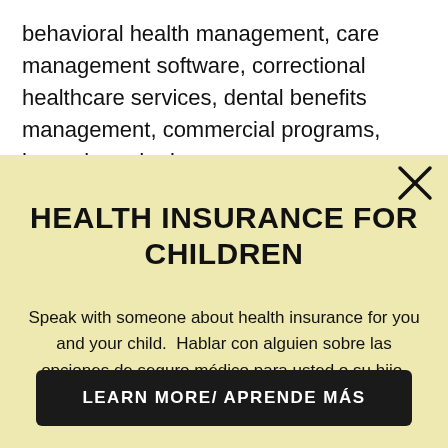behavioral health management, care management software, correctional healthcare services, dental benefits management, commercial programs, home-based primary care, life and health management, and more...
HEALTH INSURANCE FOR CHILDREN
Speak with someone about health insurance for you and your child.  Hablar con alguien sobre las opciones de seguro médico para usted o su hijo,
LEARN MORE/ APRENDE MÁS